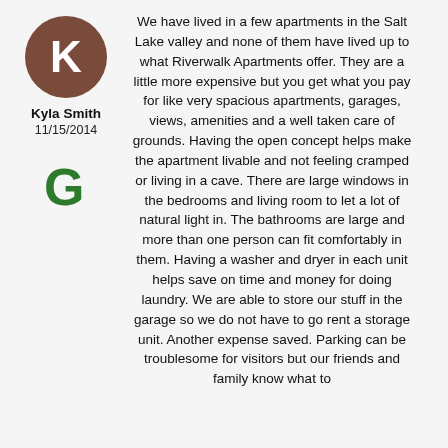[Figure (illustration): Circular brown avatar with white letter K]
Kyla Smith
11/15/2014
[Figure (logo): Google G logo in green]
We have lived in a few apartments in the Salt Lake valley and none of them have lived up to what Riverwalk Apartments offer. They are a little more expensive but you get what you pay for like very spacious apartments, garages, views, amenities and a well taken care of grounds. Having the open concept helps make the apartment livable and not feeling cramped or living in a cave. There are large windows in the bedrooms and living room to let a lot of natural light in. The bathrooms are large and more than one person can fit comfortably in them. Having a washer and dryer in each unit helps save on time and money for doing laundry. We are able to store our stuff in the garage so we do not have to go rent a storage unit. Another expense saved. Parking can be troublesome for visitors but our friends and family know what to